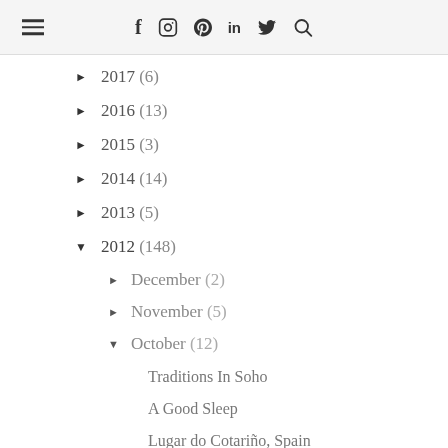≡  f  [instagram]  p  in  [twitter]  [search]
► 2017 (6)
► 2016 (13)
► 2015 (3)
► 2014 (14)
► 2013 (5)
▼ 2012 (148)
► December (2)
► November (5)
▼ October (12)
Traditions In Soho
A Good Sleep
Lugar do Cotariño, Spain
Pebble Vase by Kate Hume